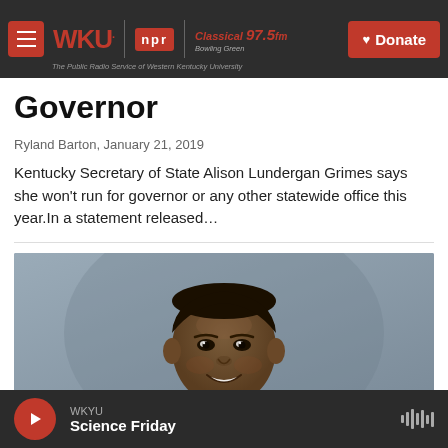WKU | NPR | Classical 97.5fm Bowling Green — The Public Radio Service of Western Kentucky University | Donate
Governor
Ryland Barton,  January 21, 2019
Kentucky Secretary of State Alison Lundergan Grimes says she won't run for governor or any other statewide office this year.In a statement released…
[Figure (photo): Portrait photo of a smiling Black man in a suit against a grey background]
WKYU  Science Friday